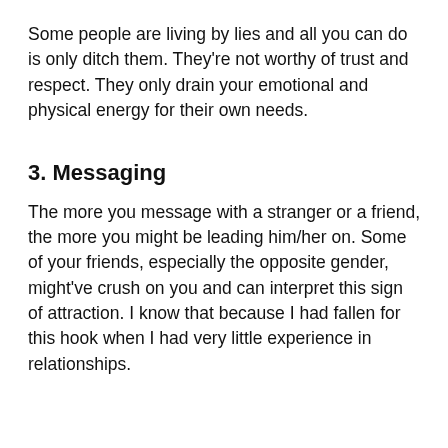Some people are living by lies and all you can do is only ditch them. They're not worthy of trust and respect. They only drain your emotional and physical energy for their own needs.
3. Messaging
The more you message with a stranger or a friend, the more you might be leading him/her on. Some of your friends, especially the opposite gender, might've crush on you and can interpret this sign of attraction. I know that because I had fallen for this hook when I had very little experience in relationships.